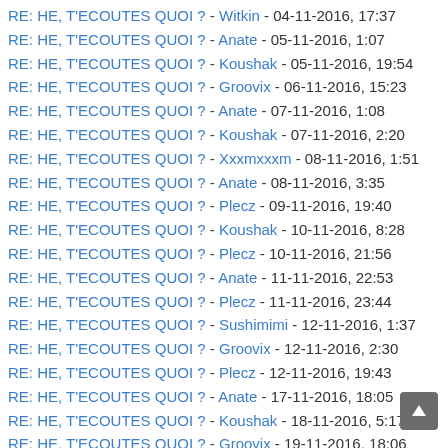RE: HE, T'ECOUTES QUOI ? - Witkin - 04-11-2016, 17:37
RE: HE, T'ECOUTES QUOI ? - Anate - 05-11-2016, 1:07
RE: HE, T'ECOUTES QUOI ? - Koushak - 05-11-2016, 19:54
RE: HE, T'ECOUTES QUOI ? - Groovix - 06-11-2016, 15:23
RE: HE, T'ECOUTES QUOI ? - Anate - 07-11-2016, 1:08
RE: HE, T'ECOUTES QUOI ? - Koushak - 07-11-2016, 2:20
RE: HE, T'ECOUTES QUOI ? - Xxxmxxxm - 08-11-2016, 1:51
RE: HE, T'ECOUTES QUOI ? - Anate - 08-11-2016, 3:35
RE: HE, T'ECOUTES QUOI ? - Plecz - 09-11-2016, 19:40
RE: HE, T'ECOUTES QUOI ? - Koushak - 10-11-2016, 8:28
RE: HE, T'ECOUTES QUOI ? - Plecz - 10-11-2016, 21:56
RE: HE, T'ECOUTES QUOI ? - Anate - 11-11-2016, 22:53
RE: HE, T'ECOUTES QUOI ? - Plecz - 11-11-2016, 23:44
RE: HE, T'ECOUTES QUOI ? - Sushimimi - 12-11-2016, 1:37
RE: HE, T'ECOUTES QUOI ? - Groovix - 12-11-2016, 2:30
RE: HE, T'ECOUTES QUOI ? - Plecz - 12-11-2016, 19:43
RE: HE, T'ECOUTES QUOI ? - Anate - 17-11-2016, 18:05
RE: HE, T'ECOUTES QUOI ? - Koushak - 18-11-2016, 5:17
RE: HE, T'ECOUTES QUOI ? - Groovix - 19-11-2016, 18:06
RE: HE, T'ECOUTES QUOI ? - Anate - 21-11-2016, 1:01
RE: HE, T'ECOUTES QUOI ? - Plecz - 20-11-2016, 4:45
RE: HE, T'ECOUTES QUOI ? - Groovix - 21-11-2016, 1:34